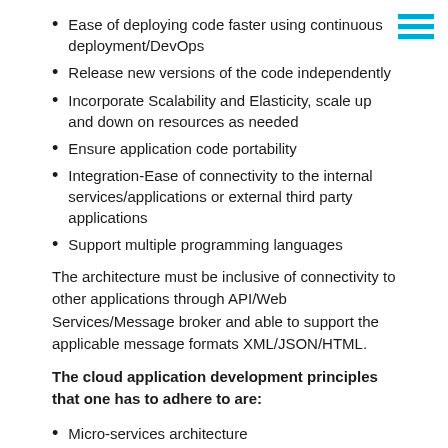Ease of deploying code faster using continuous deployment/DevOps
Release new versions of the code independently
Incorporate Scalability and Elasticity, scale up and down on resources as needed
Ensure application code portability
Integration-Ease of connectivity to the internal services/applications or external third party applications
Support multiple programming languages
The architecture must be inclusive of connectivity to other applications through API/Web Services/Message broker and able to support the applicable message formats XML/JSON/HTML.
The cloud application development principles that one has to adhere to are:
Micro-services architecture
Containers
Application Program Interface (API) driven and supported applications
Event Driven Architecture
As per the Wikipedia definition, micro-services is a software